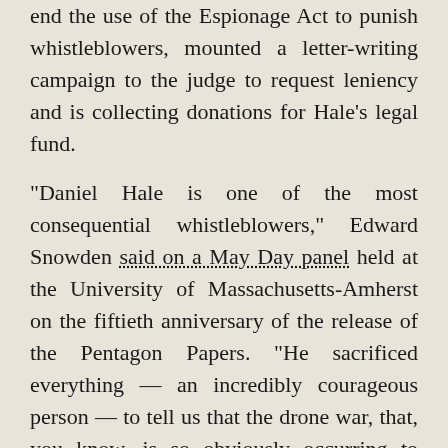end the use of the Espionage Act to punish whistleblowers, mounted a letter-writing campaign to the judge to request leniency and is collecting donations for Hale's legal fund.
“Daniel Hale is one of the most consequential whistleblowers,” Edward Snowden said on a May Day panel held at the University of Massachusetts-Amherst on the fiftieth anniversary of the release of the Pentagon Papers. “He sacrificed everything — an incredibly courageous person — to tell us that the drone war, that, you know, is so obviously occurring to everyone else, but the government was still officially denying in so many ways, is here, it is [Translate »] 90 percent of the casualties in one